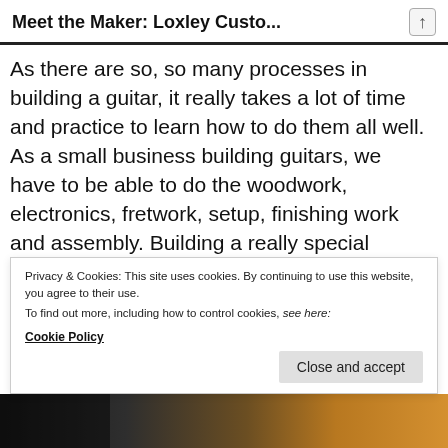Meet the Maker: Loxley Custo...
As there are so, so many processes in building a guitar, it really takes a lot of time and practice to learn how to do them all well.  As a small business building guitars, we have to be able to do the woodwork, electronics, fretwork, setup, finishing work and assembly. Building a really special instrument cant be rushed and this is what makes them stand out against the competition.
Privacy & Cookies: This site uses cookies. By continuing to use this website, you agree to their use.
To find out more, including how to control cookies, see here:
Cookie Policy
[Figure (photo): Bottom strip showing a guitar or musical instrument in warm brown/amber tones against dark background]